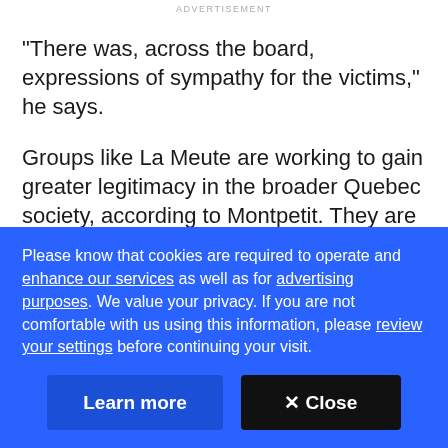ADVERTISEMENT
"There was, across the board, expressions of sympathy for the victims," he says.
Groups like La Meute are working to gain greater legitimacy in the broader Quebec society, according to Montpetit. They are aware of the scrutiny they are currently under, both from the public and by the police.
Please know that cookies are required to operate and enhance our services as well as for advertising purposes. We value your privacy. If you are not comfortable with us using this information, please review your settings before continuing your visit.